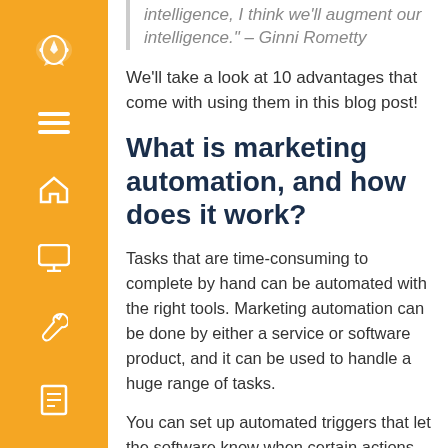intelligence, I think we'll augment our intelligence." – Ginni Rometty
We'll take a look at 10 advantages that come with using them in this blog post!
What is marketing automation, and how does it work?
Tasks that are time-consuming to complete by hand can be automated with the right tools. Marketing automation can be done by either a service or software product, and it can be used to handle a huge range of tasks.
You can set up automated triggers that let the software know when certain actions have